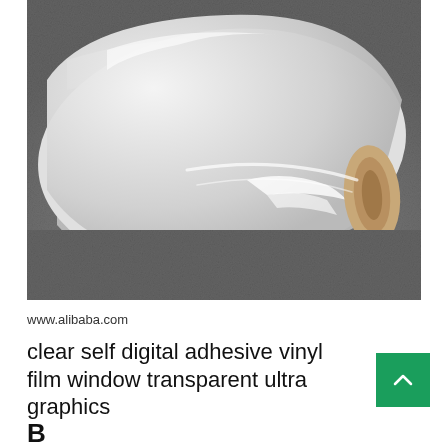[Figure (photo): A large roll of clear/transparent adhesive vinyl film lying on a grey textured surface. The roll shows reflective highlights on the transparent film. The roll is positioned diagonally with its core visible at the right end.]
www.alibaba.com
clear self digital adhesive vinyl film window transparent ultra graphics
B...